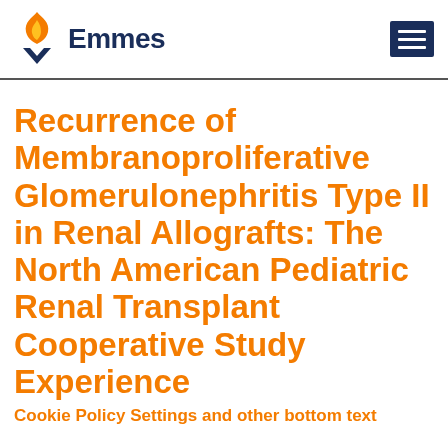[Figure (logo): Emmes company logo with flame/droplet icon in orange and dark navy blue text reading 'Emmes']
Recurrence of Membranoproliferative Glomerulonephritis Type II in Renal Allografts: The North American Pediatric Renal Transplant Cooperative Study Experience